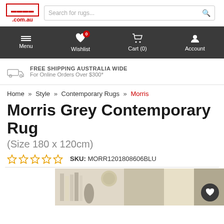.com.au — Search for rugs... [search icon]
Menu | Wishlist (0) | Cart (0) | Account
FREE SHIPPING AUSTRALIA WIDE — For Online Orders Over $300*
Home » Style » Contemporary Rugs » Morris
Morris Grey Contemporary Rug
(Size 180 x 120cm)
☆☆☆☆☆  SKU: MORR1201808606BLU
[Figure (photo): Partial product photo of a grey contemporary rug in a room setting with books and decorative items visible]